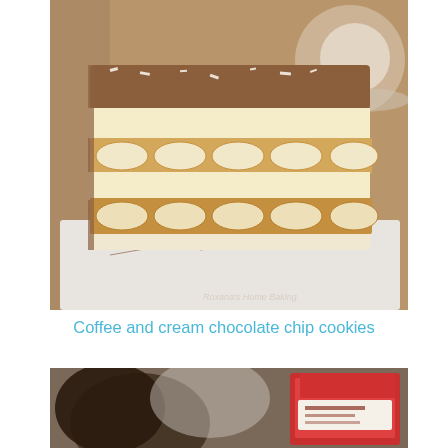[Figure (photo): Close-up photo of a tiramisu-style layered dessert with ladyfinger biscuits, cream filling, and chocolate shavings on top, on a white serving board. Watermark reads: Roxana's Home Baking]
Coffee and cream chocolate chip cookies
[Figure (photo): Partially visible photo of cookies/baked goods, blurred in the foreground, with a red and white packaged product visible on the right side.]